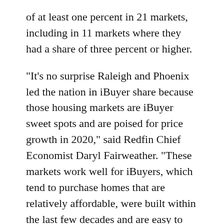of at least one percent in 21 markets, including in 11 markets where they had a share of three percent or higher.
"It's no surprise Raleigh and Phoenix led the nation in iBuyer share because those housing markets are iBuyer sweet spots and are poised for price growth in 2020," said Redfin Chief Economist Daryl Fairweather. "These markets work well for iBuyers, which tend to purchase homes that are relatively affordable, were built within the last few decades and are easy to price accurately because they are located in tract neighborhoods with largely homogenous housing stock. iBuyers also try to buy homes that will likely retain or increase in value over the short period between purchase and sale.